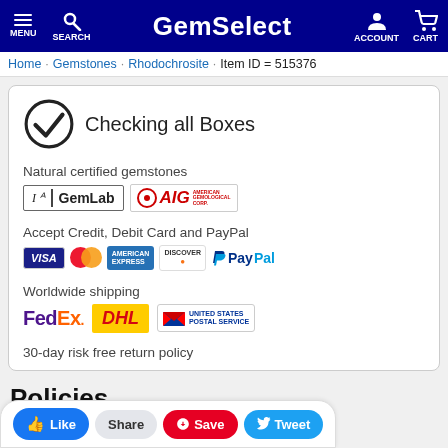MENU  SEARCH  GemSelect  ACCOUNT  CART
Home  Gemstones  Rhodochrosite  Item ID = 515376
Checking all Boxes
Natural certified gemstones
[Figure (logo): GemLab and AIG certification logos]
Accept Credit, Debit Card and PayPal
[Figure (logo): Visa, MasterCard, American Express, Discover, PayPal payment logos]
Worldwide shipping
[Figure (logo): FedEx, DHL, United States Postal Service shipping logos]
30-day risk free return policy
Policies
Like  Share  Save  Tweet